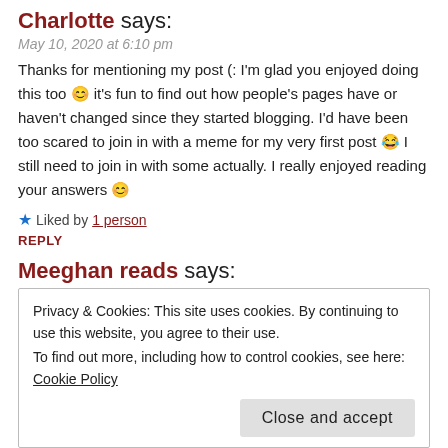Charlotte says:
May 10, 2020 at 6:10 pm
Thanks for mentioning my post (: I'm glad you enjoyed doing this too 😊 it's fun to find out how people's pages have or haven't changed since they started blogging. I'd have been too scared to join in with a meme for my very first post 😂 I still need to join in with some actually. I really enjoyed reading your answers 😊
★ Liked by 1 person
REPLY
Meeghan reads says:
Privacy & Cookies: This site uses cookies. By continuing to use this website, you agree to their use.
To find out more, including how to control cookies, see here: Cookie Policy
Close and accept